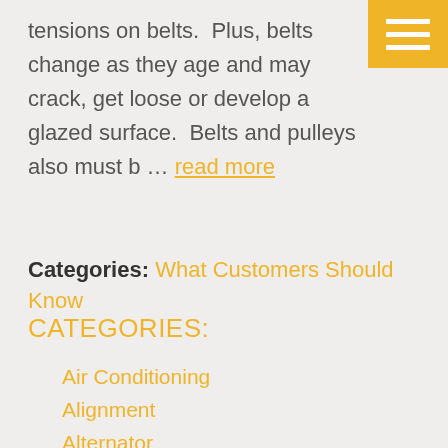tensions on belts.  Plus, belts change as they age and may crack, get loose or develop a glazed surface.  Belts and pulleys also must b … read more
Categories: What Customers Should Know
CATEGORIES:
Air Conditioning
Alignment
Alternator
Auto Safety
Automotive News
Battery
Brakes